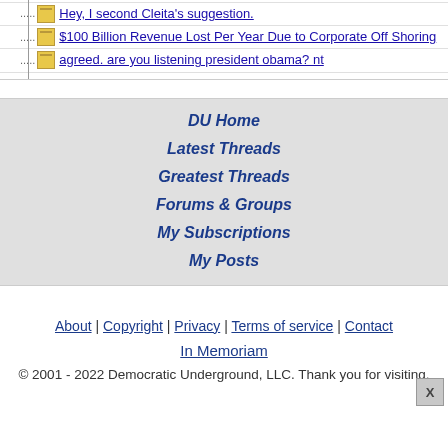Hey, I second Cleita's suggestion.
$100 Billion Revenue Lost Per Year Due to Corporate Off Shoring
agreed. are you listening president obama? nt
DU Home
Latest Threads
Greatest Threads
Forums & Groups
My Subscriptions
My Posts
About | Copyright | Privacy | Terms of service | Contact
In Memoriam
© 2001 - 2022 Democratic Underground, LLC. Thank you for visiting.